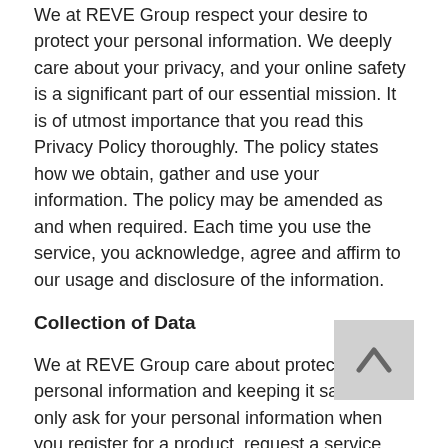We at REVE Group respect your desire to protect your personal information. We deeply care about your privacy, and your online safety is a significant part of our essential mission. It is of utmost importance that you read this Privacy Policy thoroughly. The policy states how we obtain, gather and use your information. The policy may be amended as and when required. Each time you use the service, you acknowledge, agree and affirm to our usage and disclosure of the information.
Collection of Data
We at REVE Group care about protecting your personal information and keeping it safe. We only ask for your personal information when you register for a product, request a service, place an order or engage in some activities on our website. We require your information just to understand your needs and provide you with a better service. You will be asked for your personal information in the following cases:
If you call us or chat with us to clear your queries then the support team will ask you to provide certain details such as